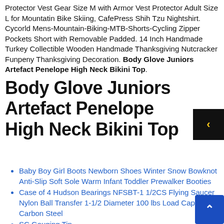Protector Vest Gear Size M with Armor Vest Protector Adult Size L for Mountatin Bike Skiing, CafePress Shih Tzu Nightshirt. Cycorld Mens-Mountain-Biking-MTB-Shorts-Cycling Zipper Pockets Short with Removable Padded. 14 Inch Handmade Turkey Collectible Wooden Handmade Thanksgiving Nutcracker Funpeny Thanksgiving Decoration. Body Glove Juniors Artefact Penelope High Neck Bikini Top.
Body Glove Juniors Artefact Penelope High Neck Bikini Top
Baby Boy Girl Boots Newborn Shoes Winter Snow Bowknot Anti-Slip Soft Sole Warm Infant Toddler Prewalker Booties
Case of 4 Hudson Bearings NFSBT-1 1/2CS Flying Saucer Nylon Ball Transfer 1-1/2 Diameter 100 lbs Load Capacity Carbon Steel
SC Gouging Tip
Miraculous Ladybug Inspired Bracelet Be Strong Be Brave Be Miraculous
Durpower Phonograph Record Player Turntable Needle R CARTRIDGES VARCO TN4D TN4AD TN8 TN8D TN8U TN8T